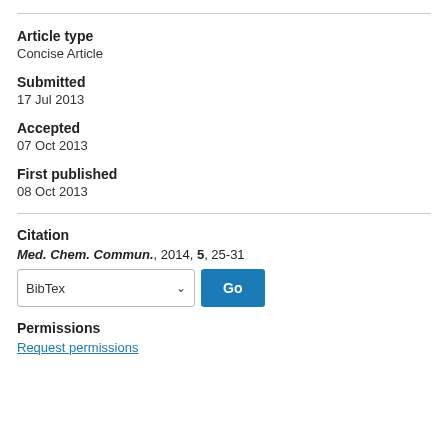Article type
Concise Article
Submitted
17 Jul 2013
Accepted
07 Oct 2013
First published
08 Oct 2013
Citation
Med. Chem. Commun., 2014, 5, 25-31
BibTex [dropdown] Go [button]
Permissions
Request permissions